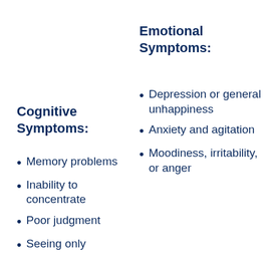Emotional Symptoms:
Cognitive Symptoms:
Memory problems
Inability to concentrate
Poor judgment
Seeing only
Depression or general unhappiness
Anxiety and agitation
Moodiness, irritability, or anger